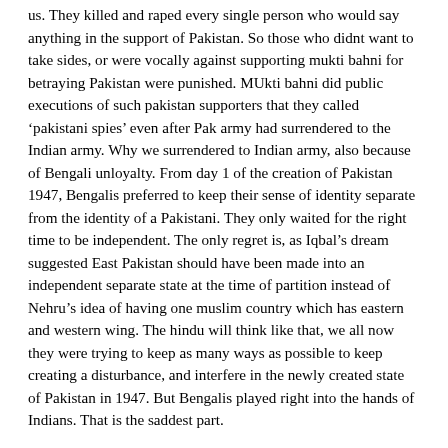us. They killed and raped every single person who would say anything in the support of Pakistan. So those who didnt want to take sides, or were vocally against supporting mukti bahni for betraying Pakistan were punished. MUkti bahni did public executions of such pakistan supporters that they called ‘pakistani spies’ even after Pak army had surrendered to the Indian army. Why we surrendered to Indian army, also because of Bengali unloyalty. From day 1 of the creation of Pakistan 1947, Bengalis preferred to keep their sense of identity separate from the identity of a Pakistani. They only waited for the right time to be independent. The only regret is, as Iqbal’s dream suggested East Pakistan should have been made into an independent separate state at the time of partition instead of Nehru’s idea of having one muslim country which has eastern and western wing. The hindu will think like that, we all now they were trying to keep as many ways as possible to keep creating a disturbance, and interfere in the newly created state of Pakistan in 1947. But Bengalis played right into the hands of Indians. That is the saddest part.